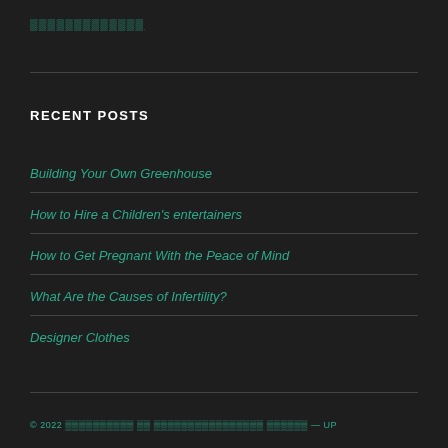🟩🟩🟩🟩🟩🟩🟩🟩🟩🟩🟩🟩🟩
RECENT POSTS
Building Your Own Greenhouse
How to Hire a Children's entertainers
How to Get Pregnant With the Peace of Mind
What Are the Causes of Infertility?
Designer Clothes
© 2022 🟩🟩🟩🟩🟩🟩🟩🟩🟩🟩 🟩🟩 🟩🟩🟩🟩🟩🟩🟩🟩🟩🟩🟩🟩🟩🟩🟩🟩 🟩🟩🟩🟩🟩🟩 — UP